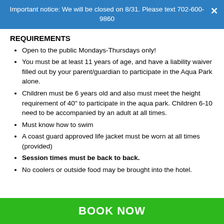Important notice: We will be closed on 8/31. Please text 702-600-9860
REQUIREMENTS
Open to the public Mondays-Thursdays only!
You must be at least 11 years of age, and have a liability waiver filled out by your parent/guardian to participate in the Aqua Park alone.
Children must be 6 years old and also must meet the height requirement of 40" to participate in the aqua park. Children 6-10 need to be accompanied by an adult at all times.
Must know how to swim
A coast guard approved life jacket must be worn at all times (provided)
Session times must be back to back.
No coolers or outside food may be brought into the hotel.
Jewelry is prohibited in the Aqua Park (nose rings, lip rings,
BOOK NOW